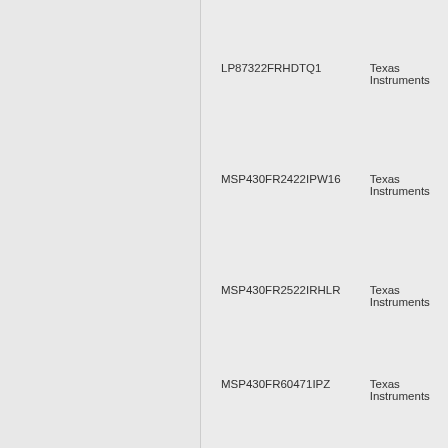LP87322FRHDTQ1   Texas Instruments
MSP430FR2422IPW16   Texas Instruments
MSP430FR2522IRHLR   Texas Instruments
MSP430FR60471IPZ   Texas Instruments